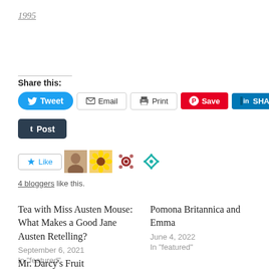1995
Share this:
Tweet  Email  Print  Save  SHARE  Post
[Figure (other): Like button and 4 blogger avatar thumbnails]
4 bloggers like this.
Tea with Miss Austen Mouse: What Makes a Good Jane Austen Retelling?
September 6, 2021
In "featured"
Pomona Britannica and Emma
June 4, 2022
In "featured"
Mr. Darcy's Fruit